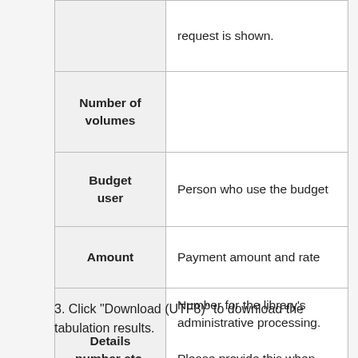| Field | Description |
| --- | --- |
|  | request is shown. |
| Number of volumes |  |
| Budget user | Person who use the budget |
| Amount | Payment amount and rate |
| Details number etc. | Number for the library's administrative processing. Please provide this when contacting the library to make an inquiry. |
3. Click "Download (UTF8)" to download the tabulation results.